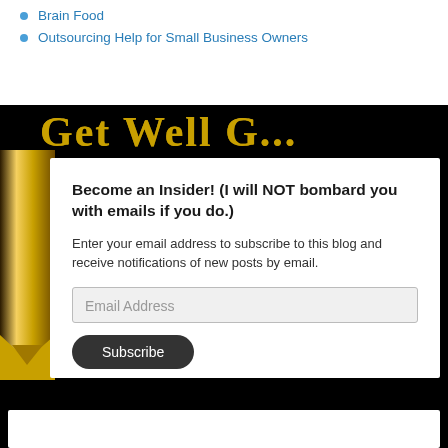Brain Food
Outsourcing Help for Small Business Owners
Become an Insider! (I will NOT bombard you with emails if you do.)
Enter your email address to subscribe to this blog and receive notifications of new posts by email.
Email Address
Subscribe